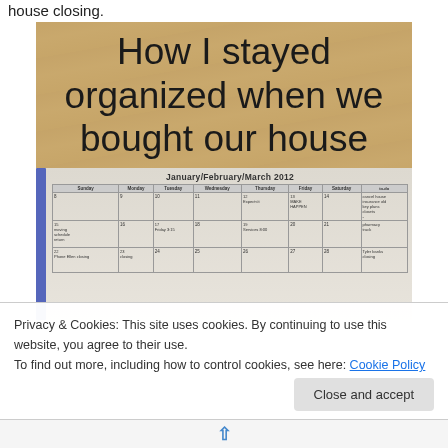house closing.
[Figure (photo): Photo of a calendar planner open to January/February/March 2012, placed on a wooden surface. Text overlay reads 'How I stayed organized when we bought our house'. The calendar shows handwritten entries including dates and notes. The planner has a purple/blue binding on the left side.]
Privacy & Cookies: This site uses cookies. By continuing to use this website, you agree to their use.
To find out more, including how to control cookies, see here: Cookie Policy
Close and accept